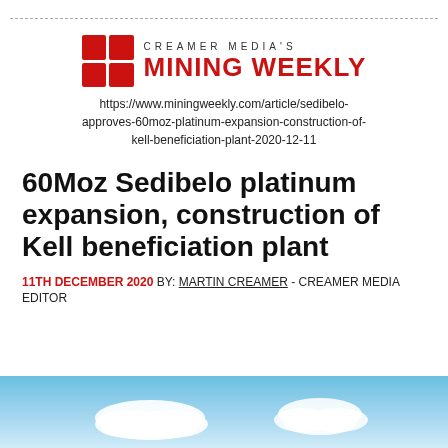Creamer Media's Mining Weekly
https://www.miningweekly.com/article/sedibelo-approves-60moz-platinum-expansion-construction-of-kell-beneficiation-plant-2020-12-11
60Moz Sedibelo platinum expansion, construction of Kell beneficiation plant
11TH DECEMBER 2020 BY: MARTIN CREAMER - CREAMER MEDIA EDITOR
[Figure (photo): Sky and clouds photo strip at bottom of page]